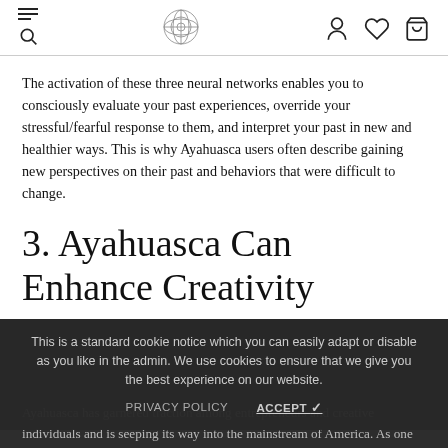[Navigation header with menu, logo, user, wishlist, cart icons]
The activation of these three neural networks enables you to consciously evaluate your past experiences, override your stressful/fearful response to them, and interpret your past in new and healthier ways. This is why Ayahuasca users often describe gaining new perspectives on their past and behaviors that were difficult to change.
3. Ayahuasca Can Enhance Creativity
This is a standard cookie notice which you can easily adapt or disable as you like in the admin. We use cookies to ensure that we give you the best experience on our website.
Ayahuasca has garnered traction among entrepreneurs and creative individuals and is seeping its way into the mainstream of America. As one New Yorker article puts it, "If cocaine expressed and amplified the speedy, greedy ethos of the nineteen-eighties, ayahuasca reflects our present moment... It is a time characterized by wellness